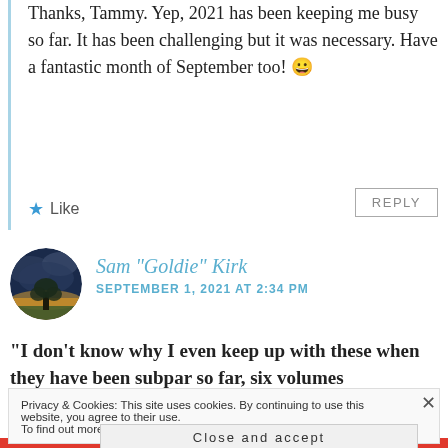Thanks, Tammy. Yep, 2021 has been keeping me busy so far. It has been challenging but it was necessary. Have a fantastic month of September too! 😀
★ Like
REPLY
[Figure (photo): Circular avatar photo showing a tree against a dramatic cloudy sky with warm golden light at the horizon]
Sam "Goldie" Kirk
SEPTEMBER 1, 2021 AT 2:34 PM
“I don’t know why I even keep up with these when they have been subpar so far, six volumes
Privacy & Cookies: This site uses cookies. By continuing to use this website, you agree to their use.
To find out more, including how to control cookies, see here: Cookie Policy
Close and accept